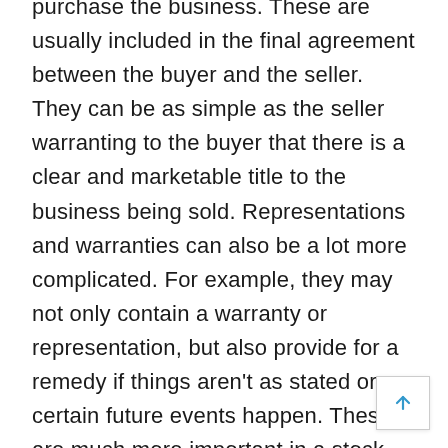purchase the business. These are usually included in the final agreement between the buyer and the seller. They can be as simple as the seller warranting to the buyer that there is a clear and marketable title to the business being sold. Representations and warranties can also be a lot more complicated. For example, they may not only contain a warranty or representation, but also provide for a remedy if things aren't as stated or certain future events happen. These are much more important in a stock sale than one of just assets. In the stock sale, the buyer is assuming all of the outstanding issues, risks and if any, future problems. The seller might warrant that there is no pending litigation and then a